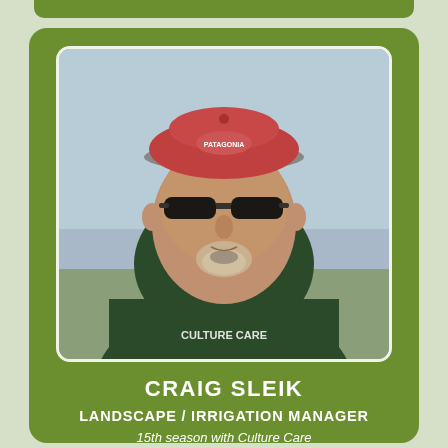[Figure (photo): Portrait photo of Craig Sleik wearing dark sunglasses, a red and grey Patagonia cap, and a dark green Culture Care hoodie sweatshirt. He has a grey goatee. The background shows an outdoor sky scene.]
CRAIG SLEIK
LANDSCAPE / IRRIGATION MANAGER
15th season with Culture Care Landscaping